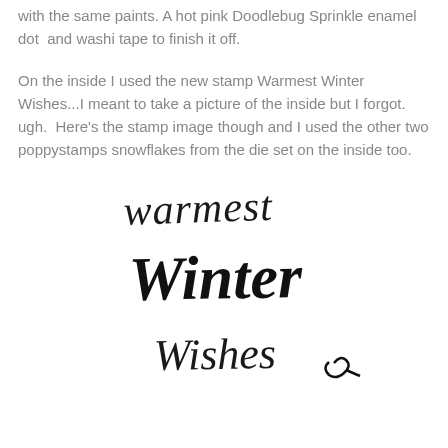with the same paints. A hot pink Doodlebug Sprinkle enamel dot  and washi tape to finish it off.
On the inside I used the new stamp Warmest Winter Wishes...I meant to take a picture of the inside but I forgot. ugh.  Here's the stamp image though and I used the other two poppystamps snowflakes from the die set on the inside too.
[Figure (illustration): Handwritten stamp image reading 'warmest Winter Wishes' in a cursive/hand-lettered style with a small heart or flourish at the end of 'Wishes']